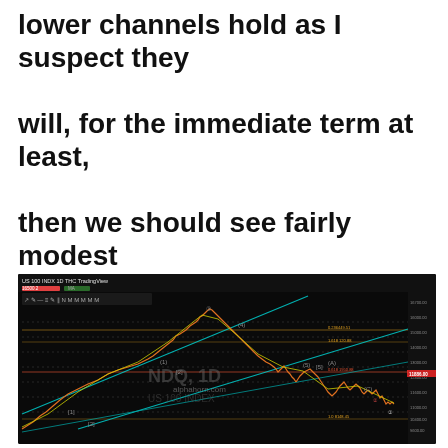lower channels hold as I suspect they will, for the immediate term at least, then we should see fairly modest bounces at the very least for both NDQ and BTC.
[Figure (continuous-plot): TradingView chart of NDQ (US 100 INDEX) on 1D timeframe showing price action with Elliott Wave labels (1,2,3,4,5 and A,B,C), channel lines in cyan/teal, candlestick data with moving average overlays in orange and yellow, watermark text 'NDQ, 1D alphahorn.com US 100 INDEX', price scale on right showing values from approximately 8600 to 16700.]